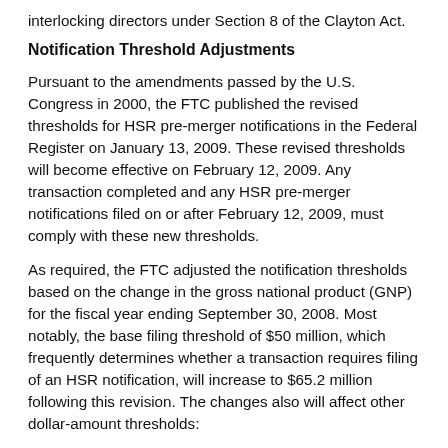interlocking directors under Section 8 of the Clayton Act.
Notification Threshold Adjustments
Pursuant to the amendments passed by the U.S. Congress in 2000, the FTC published the revised thresholds for HSR pre-merger notifications in the Federal Register on January 13, 2009. These revised thresholds will become effective on February 12, 2009. Any transaction completed and any HSR pre-merger notifications filed on or after February 12, 2009, must comply with these new thresholds.
As required, the FTC adjusted the notification thresholds based on the change in the gross national product (GNP) for the fiscal year ending September 30, 2008. Most notably, the base filing threshold of $50 million, which frequently determines whether a transaction requires filing of an HSR notification, will increase to $65.2 million following this revision. The changes also will affect other dollar-amount thresholds:
The alternative statutory size-of-transaction test, which captures all transactions valued above $200 million